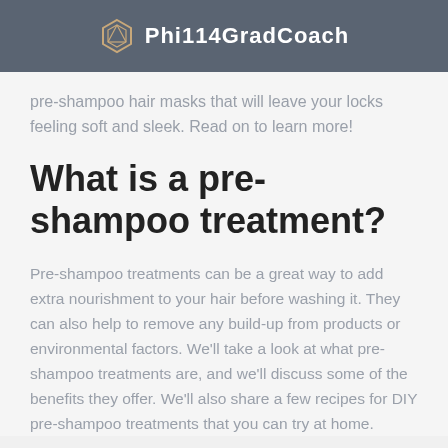Phi114GradCoach
pre-shampoo hair masks that will leave your locks feeling soft and sleek. Read on to learn more!
What is a pre-shampoo treatment?
Pre-shampoo treatments can be a great way to add extra nourishment to your hair before washing it. They can also help to remove any build-up from products or environmental factors. We'll take a look at what pre-shampoo treatments are, and we'll discuss some of the benefits they offer. We'll also share a few recipes for DIY pre-shampoo treatments that you can try at home.
[Figure (photo): Bottom edge of an image showing a hand and teal/turquoise background, partially visible at the bottom of the page]